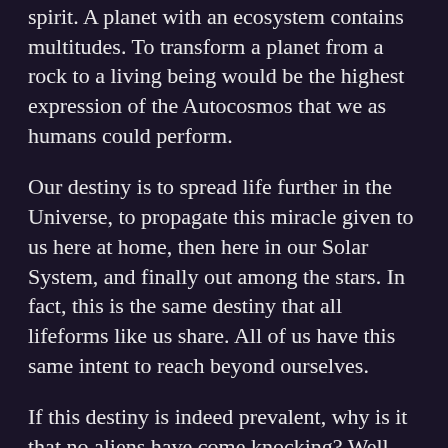spirit. A planet with an ecosystem contains multitudes. To transform a planet from a rock to a living being would be the highest expression of the Autocosmos that we as humans could perform.
Our destiny is to spread life further in the Universe, to propagate this miracle given to us here at home, then here in our Solar System, and finally out among the stars. In fact, this is the same destiny that all lifeforms like us share. All of us have this same intent to reach beyond ourselves.
If this destiny is indeed prevalent, why is it that no aliens have come knocking? Well, it’s a matter of accounting. Highly complex organisms are incredibly energy and material intensive. Each of us cannot be plucked out of the world as islands unto ourselves. We require